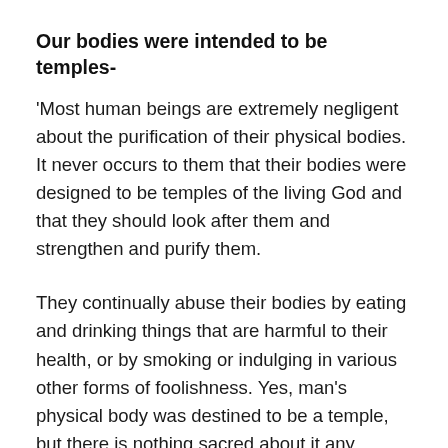Our bodies were intended to be temples-
'Most human beings are extremely negligent about the purification of their physical bodies. It never occurs to them that their bodies were designed to be temples of the living God and that they should look after them and strengthen and purify them.
They continually abuse their bodies by eating and drinking things that are harmful to their health, or by smoking or indulging in various other forms of foolishness. Yes, man's physical body was destined to be a temple, but there is nothing sacred about it any longer, and obviously, in these circumstances, it is not the Lord who will come to dwell in it but entities of a lower order, all those undesirables that love filth and feed on